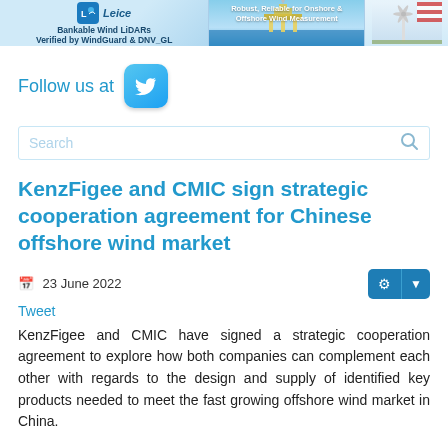[Figure (illustration): Banner image with Leice logo and LiDAR wind measurement branding, offshore wind platform image, and wind turbine illustration. Text: 'Bankable Wind LiDARs Verified by WindGuard & DNV_GL' and 'Robust, Reliable for Onshore & Offshore Wind Measurement']
Follow us at
[Figure (logo): Twitter bird logo button in blue rounded square]
[Figure (screenshot): Search bar with placeholder text 'Search' and magnifying glass icon]
KenzFigee and CMIC sign strategic cooperation agreement for Chinese offshore wind market
23 June 2022
Tweet
KenzFigee and CMIC have signed a strategic cooperation agreement to explore how both companies can complement each other with regards to the design and supply of identified key products needed to meet the fast growing offshore wind market in China.